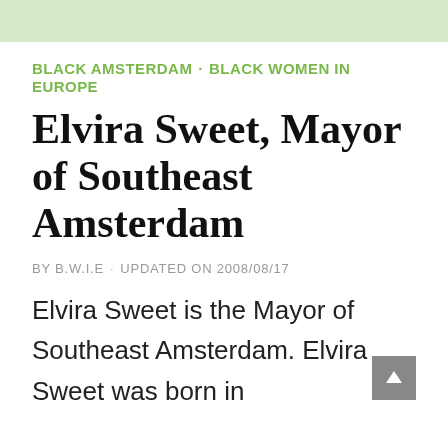BLACK AMSTERDAM · BLACK WOMEN IN EUROPE
Elvira Sweet, Mayor of Southeast Amsterdam
BY B.W.I.E · UPDATED ON 2008/08/17
Elvira Sweet is the Mayor of Southeast Amsterdam. Elvira Sweet was born in